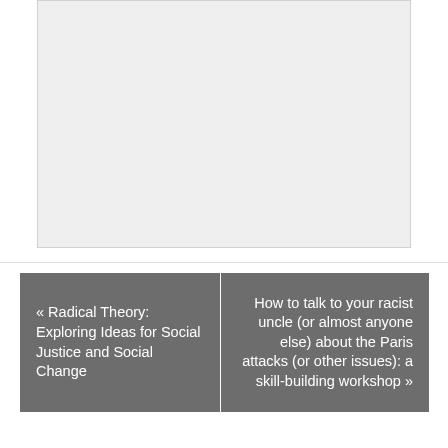[Figure (other): Light gray placeholder image box with border]
« Radical Theory: Exploring Ideas for Social Justice and Social Change
How to talk to your racist uncle (or almost anyone else) about the Paris attacks (or other issues): a skill-building workshop »